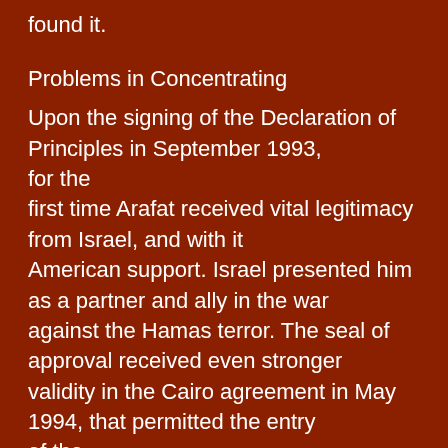found it.
Problems in Concentrating
Upon the signing of the Declaration of Principles in September 1993, for the first time Arafat received vital legitimacy from Israel, and with it American support. Israel presented him as a partner and ally in the war against the Hamas terror. The seal of approval received even stronger validity in the Cairo agreement in May 1994, that permitted the entry of the Authority to Gaza and Jericho, and later to the cities of the [West] Bank as well. Before the entry of the forces, security matters were clarified,